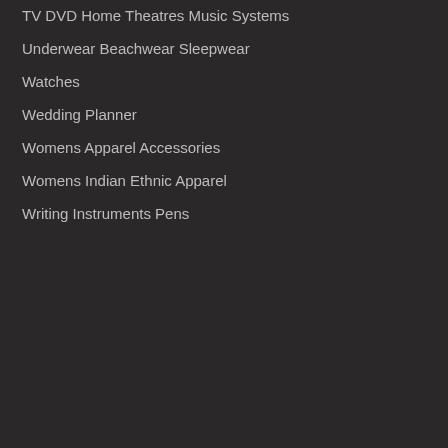TV DVD Home Theatres Music Systems
Underwear Beachwear Sleepwear
Watches
Wedding Planner
Womens Apparel Accessories
Womens Indian Ethnic Apparel
Writing Instruments Pens